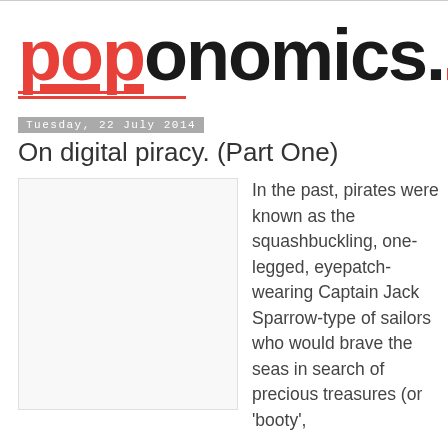poponomics.
Tuesday, 22 July 2014
On digital piracy. (Part One)
[Figure (photo): Blank/white image placeholder for article illustration]
In the past, pirates were known as the squashbuckling, one-legged, eyepatch-wearing Captain Jack Sparrow-type of sailors who would brave the seas in search of precious treasures (or 'booty',